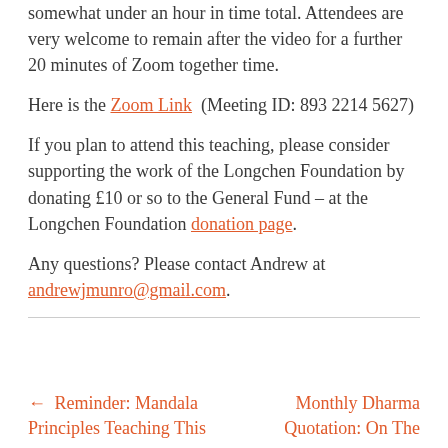somewhat under an hour in time total. Attendees are very welcome to remain after the video for a further 20 minutes of Zoom together time.
Here is the Zoom Link (Meeting ID: 893 2214 5627)
If you plan to attend this teaching, please consider supporting the work of the Longchen Foundation by donating £10 or so to the General Fund – at the Longchen Foundation donation page.
Any questions? Please contact Andrew at andrewjmunro@gmail.com.
← Reminder: Mandala Principles Teaching This
Monthly Dharma Quotation: On The